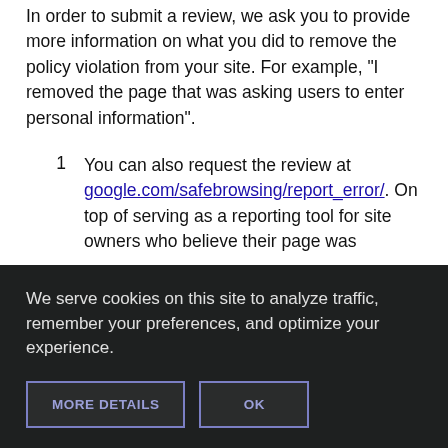In order to submit a review, we ask you to provide more information on what you did to remove the policy violation from your site. For example, "I removed the page that was asking users to enter personal information".
You can also request the review at google.com/safebrowsing/report_error/. On top of serving as a reporting tool for site owners who believe their page was
We serve cookies on this site to analyze traffic, remember your preferences, and optimize your experience.
MORE DETAILS   OK